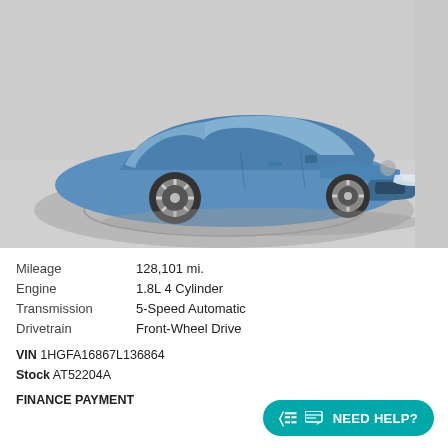[Figure (photo): Blue Honda Civic sedan photographed in a showroom on a turntable, front three-quarter view]
| Mileage | 128,101 mi. |
| Engine | 1.8L 4 Cylinder |
| Transmission | 5-Speed Automatic |
| Drivetrain | Front-Wheel Drive |
VIN 1HGFA16867L136864
Stock AT52204A
FINANCE PAYMENT
NEED HELP?